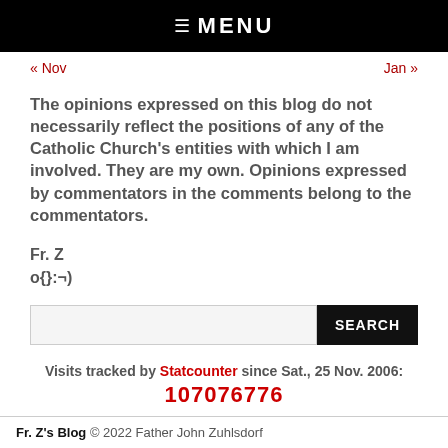☰ MENU
« Nov    Jan »
The opinions expressed on this blog do not necessarily reflect the positions of any of the Catholic Church's entities with which I am involved. They are my own. Opinions expressed by commentators in the comments belong to the commentators.
Fr. Z
o{}:¬)
SEARCH
Visits tracked by Statcounter since Sat., 25 Nov. 2006:
107076776
Fr. Z's Blog © 2022 Father John Zuhlsdorf